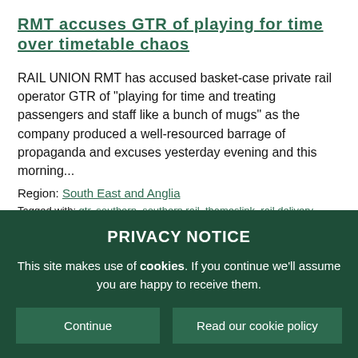RMT accuses GTR of playing for time over timetable chaos
RAIL UNION RMT has accused basket-case private rail operator GTR of "playing for time and treating passengers and staff like a bunch of mugs" as the company produced a well-resourced barrage of propaganda and excuses yesterday evening and this morning...
Region: South East and Anglia
Tagged with: gtr, southern, southern rail, thameslink, rail delivery group, rdg, dda, disabled access, guards, conductors, timetable chaos
PRIVACY NOTICE
This site makes use of cookies. If you continue we'll assume you are happy to receive them.